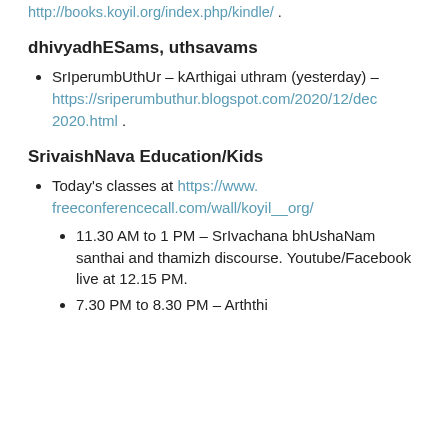http://books.koyil.org/index.php/kindle/ .
dhivyadhESams, uthsavams
SrIperumbUthUr – kArthigai uthram (yesterday) – https://sriperumbuthur.blogspot.com/2020/12/dec2020.html .
SrivaishNava Education/Kids
Today's classes at https://www.freeconferencecall.com/wall/koyil__org/
11.30 AM to 1 PM – SrIvachana bhUshaNam santhai and thamizh discourse. Youtube/Facebook live at 12.15 PM.
7.30 PM to 8.30 PM – Arththi